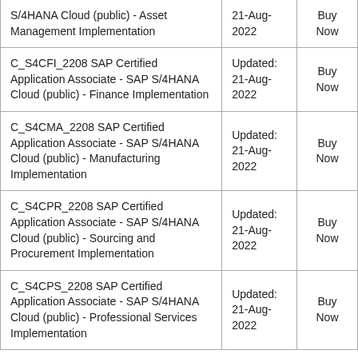| Certification Name | Date | Action |
| --- | --- | --- |
| S/4HANA Cloud (public) - Asset Management Implementation | Updated: 21-Aug-2022 | Buy Now |
| C_S4CFI_2208 SAP Certified Application Associate - SAP S/4HANA Cloud (public) - Finance Implementation | Updated: 21-Aug-2022 | Buy Now |
| C_S4CMA_2208 SAP Certified Application Associate - SAP S/4HANA Cloud (public) - Manufacturing Implementation | Updated: 21-Aug-2022 | Buy Now |
| C_S4CPR_2208 SAP Certified Application Associate - SAP S/4HANA Cloud (public) - Sourcing and Procurement Implementation | Updated: 21-Aug-2022 | Buy Now |
| C_S4CPS_2208 SAP Certified Application Associate - SAP S/4HANA Cloud (public) - Professional Services Implementation | Updated: 21-Aug-2022 | Buy Now |